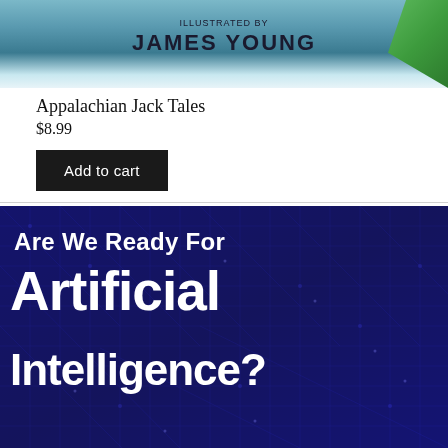[Figure (illustration): Top portion of a book cover showing 'JAMES YOUNG' in bold text on a teal/blue background with a green corner element]
Appalachian Jack Tales
$8.99
Add to cart
[Figure (illustration): Book cover for 'Are We Ready For Artificial Intelligence?' showing white bold text on a dark blue circuit board background]